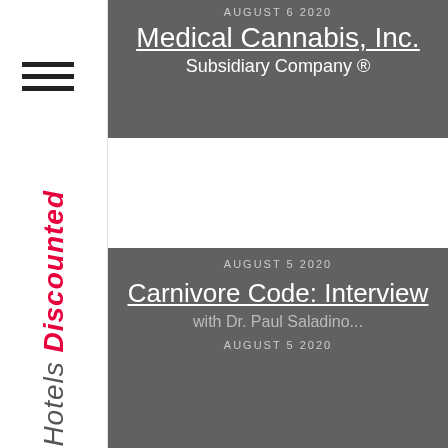[Figure (logo): All Hotels Discounted sidebar logo with hotel icon]
AUGUST 6 2020
Medical Cannabis, Inc.
Subsidiary Company®
AUGUST 5 2020
Carnivore Code: Interview with Dr. Paul Saladino...
AUGUST 5 2020